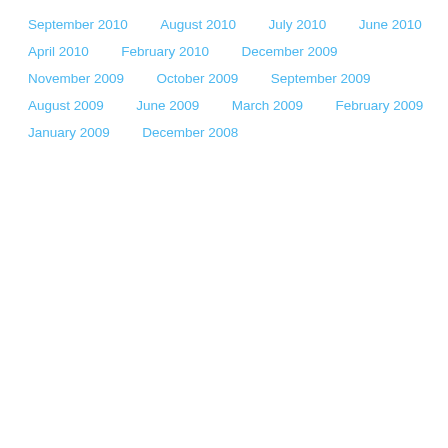September 2010
August 2010
July 2010
June 2010
April 2010
February 2010
December 2009
November 2009
October 2009
September 2009
August 2009
June 2009
March 2009
February 2009
January 2009
December 2008